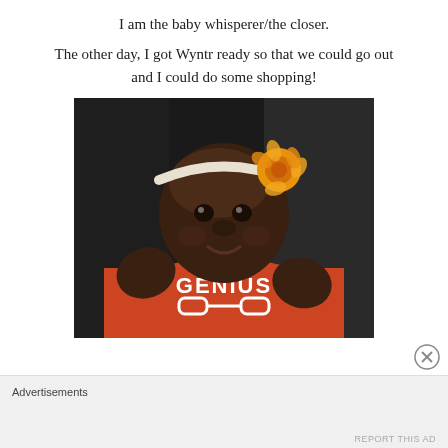I am the baby whisperer/the closer.
The other day, I got Wyntr ready so that we could go out and I could do some shopping!
[Figure (photo): A baby wearing an orange 'GENIUS' onesie with glasses graphic, and a white headband with a yellow/orange flower, sitting in what appears to be a dark stroller or seat, smiling at the camera.]
Advertisements
REPORT THIS AD